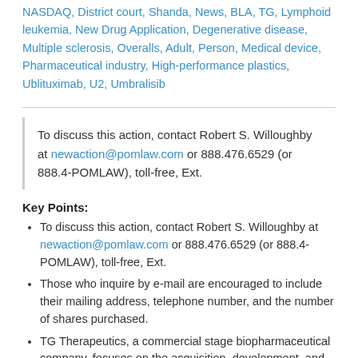NASDAQ, District court, Shanda, News, BLA, TG, Lymphoid leukemia, New Drug Application, Degenerative disease, Multiple sclerosis, Overalls, Adult, Person, Medical device, Pharmaceutical industry, High-performance plastics, Ublituximab, U2, Umbralisib
To discuss this action, contact Robert S. Willoughby at newaction@pomlaw.com or 888.476.6529 (or 888.4-POMLAW), toll-free, Ext.
Key Points:
To discuss this action, contact Robert S. Willoughby at newaction@pomlaw.com or 888.476.6529 (or 888.4-POMLAW), toll-free, Ext.
Those who inquire by e-mail are encouraged to include their mailing address, telephone number, and the number of shares purchased.
TG Therapeutics, a commercial stage biopharmaceutical company, focuses on the acquisition, development, and commercialization of novel treatments for B-cell malignancies and autoimmune diseases.
Founded by the late Abraham L. Pomerantz, known as the